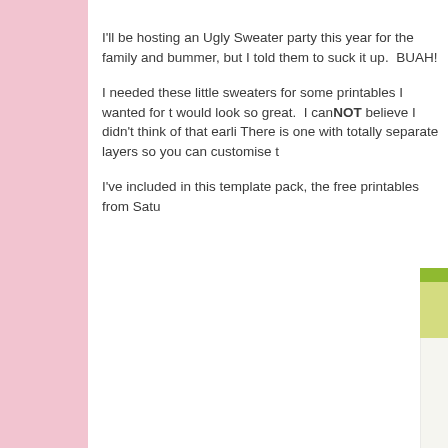I'll be hosting an Ugly Sweater party this year for the family and bummer, but I told them to suck it up.  BUAH!
I needed these little sweaters for some printables I wanted for t would look so great.  I canNOT believe I didn't think of that earli There is one with totally separate layers so you can customise t
I've included in this template pack, the free printables from Satu
[Figure (illustration): Partial view of a document or printable template, cropped at the right edge, showing a lime green header bar and white document area.]